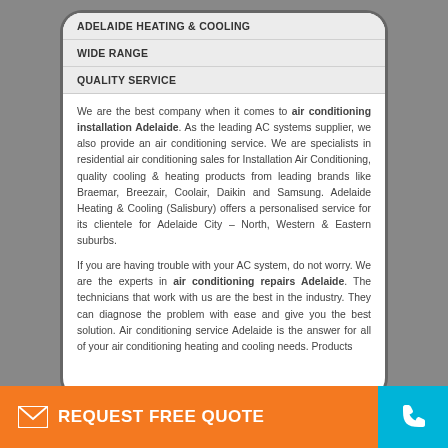ADELAIDE HEATING & COOLING
WIDE RANGE
QUALITY SERVICE
We are the best company when it comes to air conditioning installation Adelaide. As the leading AC systems supplier, we also provide an air conditioning service. We are specialists in residential air conditioning sales for Installation Air Conditioning, quality cooling & heating products from leading brands like Braemar, Breezair, Coolair, Daikin and Samsung. Adelaide Heating & Cooling (Salisbury) offers a personalised service for its clientele for Adelaide City – North, Western & Eastern suburbs.
If you are having trouble with your AC system, do not worry. We are the experts in air conditioning repairs Adelaide. The technicians that work with us are the best in the industry. They can diagnose the problem with ease and give you the best solution. Air conditioning service Adelaide is the answer for all of your air conditioning heating and cooling needs. Products
REQUEST FREE QUOTE